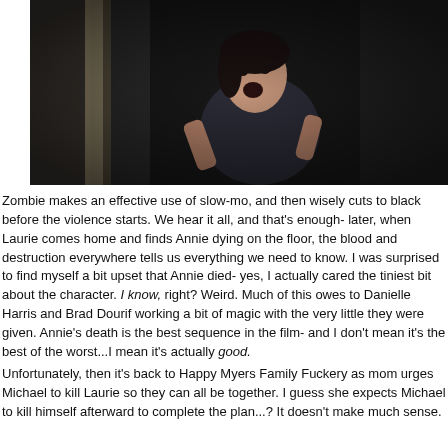[Figure (photo): A dark film still showing a woman screaming or reacting in fear near a doorway, from a horror movie (Halloween)]
Zombie makes an effective use of slow-mo, and then wisely cuts to black before the violence starts. We hear it all, and that's enough- later, when Laurie comes home and finds Annie dying on the floor, the blood and destruction everywhere tells us everything we need to know. I was surprised to find myself a bit upset that Annie died- yes, I actually cared the tiniest bit about the character. I know, right? Weird. Much of this owes to Danielle Harris and Brad Dourif working a bit of magic with the very little they were given. Annie's death is the best sequence in the film- and I don't mean it's the best of the worst...I mean it's actually good.
Unfortunately, then it's back to Happy Myers Family Fuckery as mom urges Michael to kill Laurie so they can all be together. I guess she expects Michael to kill himself afterward to complete the plan...? It doesn't make much sense.